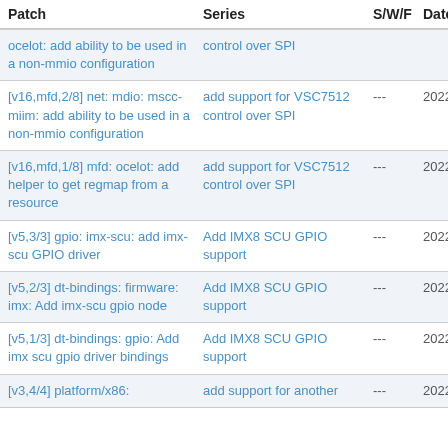| Patch | Series | S/W/F | Date |
| --- | --- | --- | --- |
| ocelot: add ability to be used in a non-mmio configuration | control over SPI |  |  |
| [v16,mfd,2/8] net: mdio: mscc-miim: add ability to be used in a non-mmio configuration | add support for VSC7512 control over SPI | --- | 2022-08 |
| [v16,mfd,1/8] mfd: ocelot: add helper to get regmap from a resource | add support for VSC7512 control over SPI | --- | 2022-08 |
| [v5,3/3] gpio: imx-scu: add imx-scu GPIO driver | Add IMX8 SCU GPIO support | --- | 2022-08 |
| [v5,2/3] dt-bindings: firmware: imx: Add imx-scu gpio node | Add IMX8 SCU GPIO support | --- | 2022-08 |
| [v5,1/3] dt-bindings: gpio: Add imx scu gpio driver bindings | Add IMX8 SCU GPIO support | --- | 2022-08 |
| [v3,4/4] platform/x86: | add support for another | --- | 2022-08 |